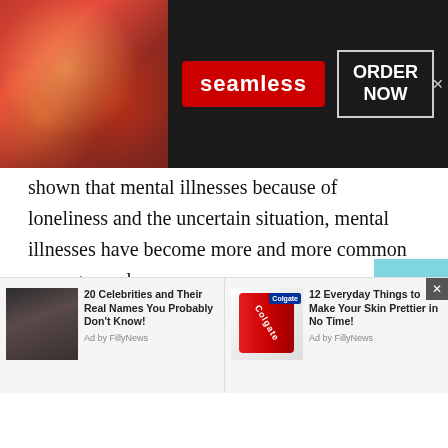[Figure (screenshot): Seamless food delivery advertisement banner with dark background, pizza image on left, red Seamless logo badge in center, and ORDER NOW button with border on right, with close X button]
shown that mental illnesses because of loneliness and the uncertain situation, mental illnesses have become more and more common among people.
Under such circumstances, it has become increasingly important for individuals to interact with other human beings, even if it is someone they do not know. Online dating, online friendships, or interactions through digital means have gained popularity, especially during the age of social distancing.
[Figure (screenshot): Bottom advertisement strip with two sponsored content items: '20 Celebrities and Their Real Names You Probably Don't Know!' with Ad by FillyNews, and '12 Everyday Things to Make Your Skin Prettier in No Time!' with Ad by FillyNews and Colgate toothpaste image]